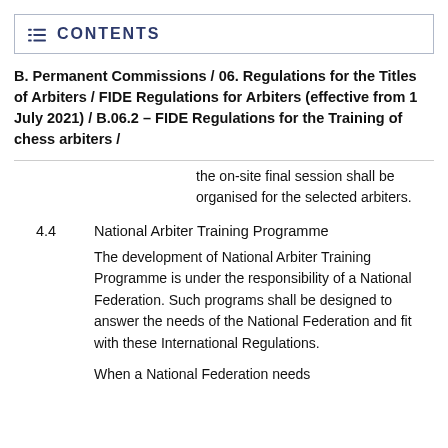CONTENTS
B. Permanent Commissions / 06. Regulations for the Titles of Arbiters / FIDE Regulations for Arbiters (effective from 1 July 2021) / B.06.2 – FIDE Regulations for the Training of chess arbiters /
the on-site final session shall be organised for the selected arbiters.
4.4    National Arbiter Training Programme
The development of National Arbiter Training Programme is under the responsibility of a National Federation. Such programs shall be designed to answer the needs of the National Federation and fit with these International Regulations.
When a National Federation needs